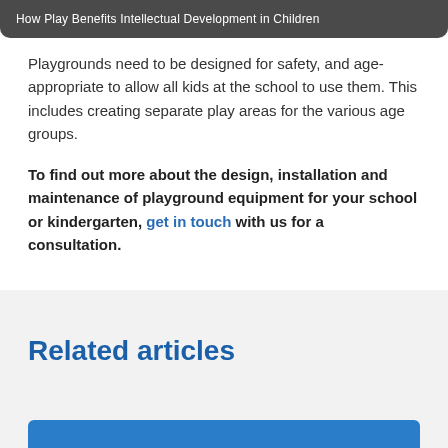[Figure (photo): Dark background image bar with white text reading 'How Play Benefits Intellectual Development in Children']
Playgrounds need to be designed for safety, and age-appropriate to allow all kids at the school to use them. This includes creating separate play areas for the various age groups.
To find out more about the design, installation and maintenance of playground equipment for your school or kindergarten, get in touch with us for a consultation.
Related articles